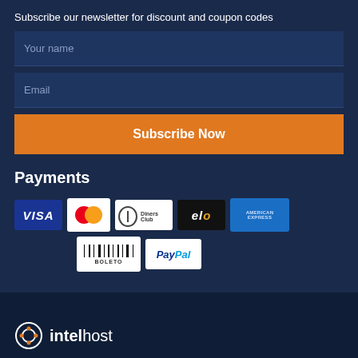Subscribe our newsletter for discount and coupon codes
[Figure (infographic): Newsletter subscription form with Your name and Email input fields and Subscribe Now button]
Payments
[Figure (infographic): Payment method icons: VISA, MasterCard, Diners Club, elo, American Express, BOLETO, PayPal]
[Figure (logo): intelhost logo at bottom footer]